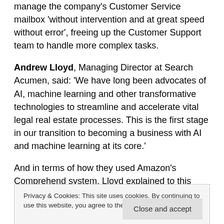manage the company's Customer Service mailbox 'without intervention and at great speed without error', freeing up the Customer Support team to handle more complex tasks.
Andrew Lloyd, Managing Director at Search Acumen, said: 'We have long been advocates of AI, machine learning and other transformative technologies to streamline and accelerate vital legal real estate processes. This is the first stage in our transition to becoming a business with AI and machine learning at its core.'
And in terms of how they used Amazon's Comprehend system, Lloyd explained to this site: 'Comprehend has a series of default entities like names and places that it has already learned to find in documents. For our project on property searches, we have added to this model with custom entities
Privacy & Cookies: This site uses cookies. By continuing to use this website, you agree to their use. Privacy Policy
Close and accept
entities that we require, including the type of search, the